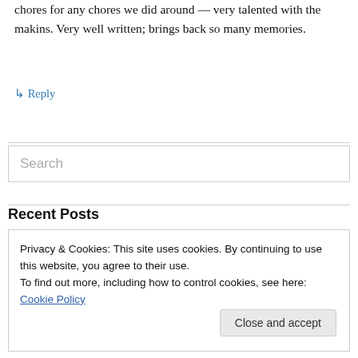chores for any chores we did around — very talented with the makins. Very well written; brings back so many memories.
↳ Reply
Search
Recent Posts
Privacy & Cookies: This site uses cookies. By continuing to use this website, you agree to their use.
To find out more, including how to control cookies, see here: Cookie Policy
Close and accept